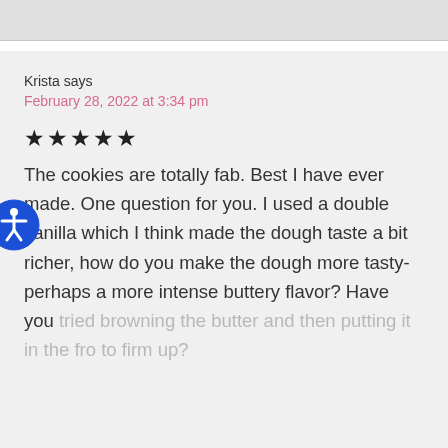Krista says
February 28, 2022 at 3:34 pm
★★★★★
The cookies are totally fab. Best I have ever made. One question for you. I used a double vanilla which I think made the dough taste a bit richer, how do you make the dough more tasty-perhaps a more intense buttery flavor? Have you tried browning the butter and then putting it in the fro to firm up?